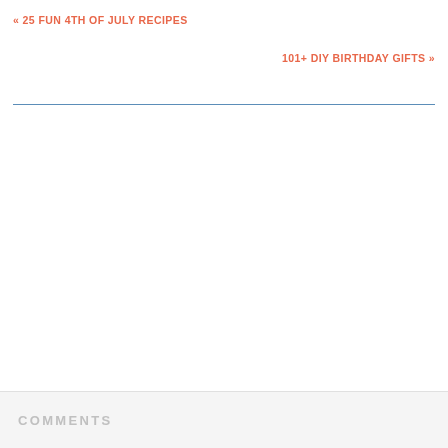« 25 FUN 4TH OF JULY RECIPES
101+ DIY BIRTHDAY GIFTS »
COMMENTS